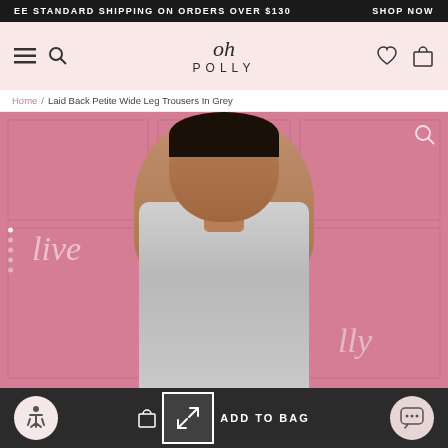EE STANDARD SHIPPING ON ORDERS OVER $130   SHOP NOW
[Figure (logo): Oh Polly logo with hamburger menu, search, heart and bag icons on pink background]
Home / Laid Back Petite Wide Leg Trousers In Grey
[Figure (photo): Model wearing light grey tie-front crop top and wide leg trousers against pink panelled background with neon 'Live Polly' script overlay]
ADD TO BAG